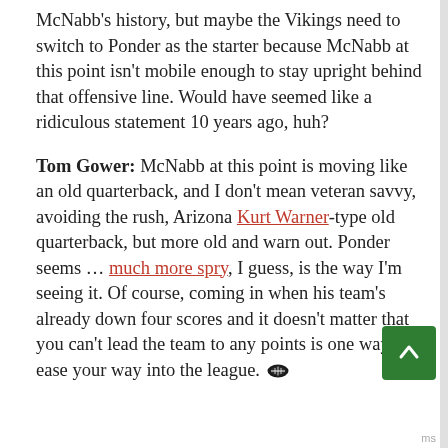McNabb's history, but maybe the Vikings need to switch to Ponder as the starter because McNabb at this point isn't mobile enough to stay upright behind that offensive line. Would have seemed like a ridiculous statement 10 years ago, huh?
Tom Gower: McNabb at this point is moving like an old quarterback, and I don't mean veteran savvy, avoiding the rush, Arizona Kurt Warner-type old quarterback, but more old and warn out. Ponder seems ... much more spry, I guess, is the way I'm seeing it. Of course, coming in when his team's already down four scores and it doesn't matter that you can't lead the team to any points is one way to ease your way into the league.